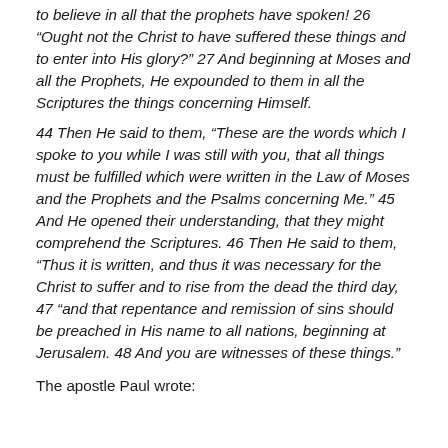to believe in all that the prophets have spoken! 26 “Ought not the Christ to have suffered these things and to enter into His glory?” 27 And beginning at Moses and all the Prophets, He expounded to them in all the Scriptures the things concerning Himself.
44 Then He said to them, “These are the words which I spoke to you while I was still with you, that all things must be fulfilled which were written in the Law of Moses and the Prophets and the Psalms concerning Me.” 45 And He opened their understanding, that they might comprehend the Scriptures. 46 Then He said to them, “Thus it is written, and thus it was necessary for the Christ to suffer and to rise from the dead the third day, 47 “and that repentance and remission of sins should be preached in His name to all nations, beginning at Jerusalem. 48 And you are witnesses of these things.”
The apostle Paul wrote: